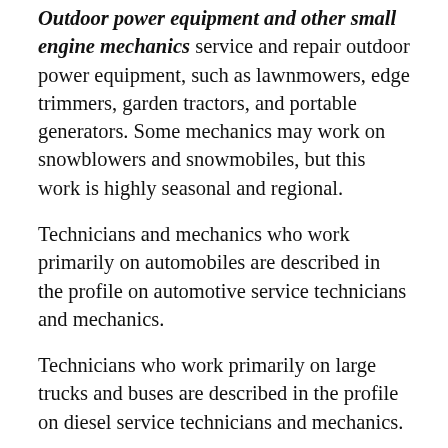Outdoor power equipment and other small engine mechanics service and repair outdoor power equipment, such as lawnmowers, edge trimmers, garden tractors, and portable generators. Some mechanics may work on snowblowers and snowmobiles, but this work is highly seasonal and regional.
Technicians and mechanics who work primarily on automobiles are described in the profile on automotive service technicians and mechanics.
Technicians who work primarily on large trucks and buses are described in the profile on diesel service technicians and mechanics.
Technicians and mechanics who work primarily on farm equipment, construction vehicles, and rail cars are described in the profile on heavy vehicle and mobile...